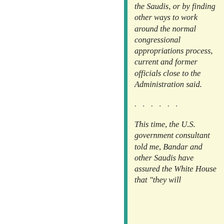the Saudis, or by finding other ways to work around the normal congressional appropriations process, current and former officials close to the Administration said.
. . . . . .
This time, the U.S. government consultant told me, Bandar and other Saudis have assured the White House that "they will
We use cookies to optimize our website and our service.
[Figure (photo): Advertisement image showing outdoor furniture with a fire pit]
Frontgate SALES
up to 50% off
frontgate.com